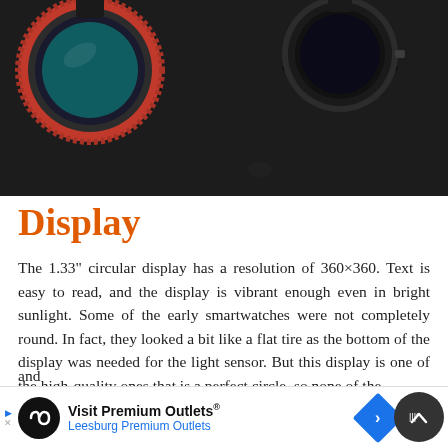[Figure (photo): Photo of smartwatches with circular displays on a dark fabric surface. Two watches visible — one with an orange/red bezel on the left, another with a dark bezel on the right.]
Display
The 1.33" circular display has a resolution of 360×360. Text is easy to read, and the display is vibrant enough even in bright sunlight. Some of the early smartwatches were not completely round. In fact, they looked a bit like a flat tire as the bottom of the display was needed for the light sensor. But this display is one of the high-quality ones that is a perfect circle, so none of the
Visit Premium Outlets® Leesburg Premium Outlets